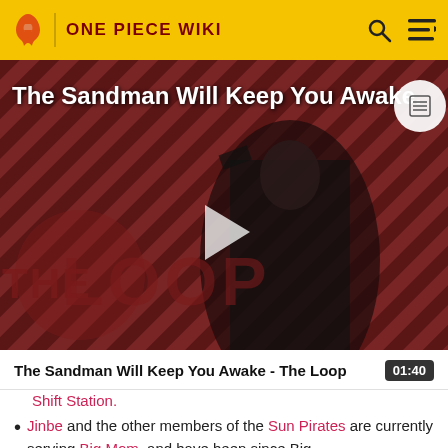ONE PIECE WIKI
[Figure (screenshot): Video thumbnail for 'The Sandman Will Keep You Awake - The Loop' showing a figure in black against a striped red/dark background with THE LOOP watermark and a play button overlay]
The Sandman Will Keep You Awake - The Loop  01:40
Shift Station.
Jinbe and the other members of the Sun Pirates are currently serving Big Mom, and have been since Big